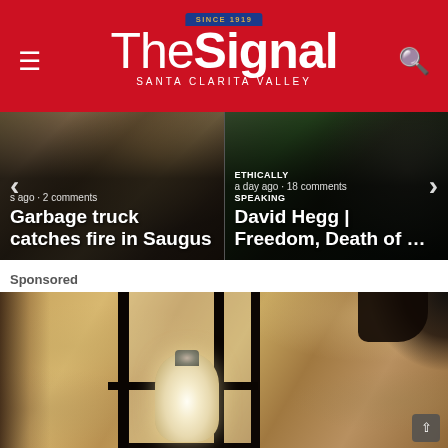The Signal – Santa Clarita Valley
[Figure (screenshot): News carousel with two articles: 'Garbage truck catches fire in Saugus' (left) and 'ETHICALLY SPEAKING – David Hegg | Freedom, Death of ...' (right), with left/right navigation arrows]
Sponsored
[Figure (photo): Close-up photo of a dark metal outdoor wall lantern mounted on a textured stucco wall, with a visible light bulb inside]